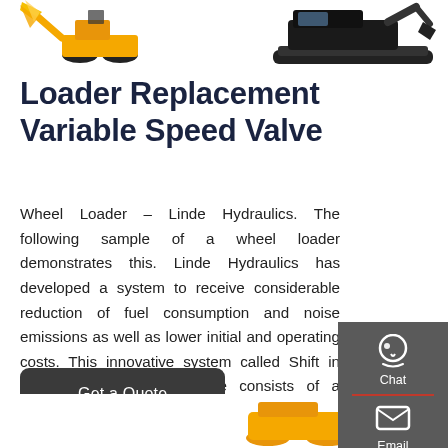[Figure (photo): Top banner area showing a yellow wheel loader on the left and a tracked excavator on the right against a white background]
Loader Replacement Variable Speed Valve
Wheel Loader – Linde Hydraulics. The following sample of a wheel loader demonstrates this. Linde Hydraulics has developed a system to receive considerable reduction of fuel consumption and noise emissions as well as lower initial and operating costs. This innovative system called Shift in Motion for hydrostatic drive consists of a variable
[Figure (screenshot): Sidebar widget with Chat, Email, and Contact icons on a dark grey background]
Get a Quote
[Figure (photo): Partial view of yellow construction machine at bottom of page]